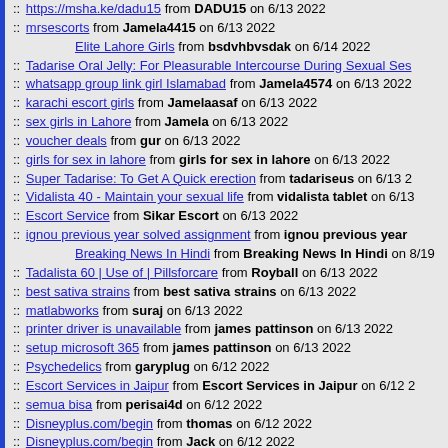:: https://msha.ke/dadu15 from DADU15 on 6/13 2022
:: mrsescorts from Jamela4415 on 6/13 2022
Elite Lahore Girls from bsdvhbvsdak on 6/14 2022
:: Tadarise Oral Jelly: For Pleasurable Intercourse During Sexual Ses
:: whatsapp group link girl Islamabad from Jamela4574 on 6/13 2022
:: karachi escort girls from Jamelaasaf on 6/13 2022
:: sex girls in Lahore from Jamela on 6/13 2022
:: voucher deals from gur on 6/13 2022
:: girls for sex in lahore from girls for sex in lahore on 6/13 2022
:: Super Tadarise: To Get A Quick erection from tadariseus on 6/13 2
:: Vidalista 40 - Maintain your sexual life from vidalista tablet on 6/13
:: Escort Service from Sikar Escort on 6/13 2022
:: ignou previous year solved assignment from ignou previous year
Breaking News In Hindi from Breaking News In Hindi on 8/19
:: Tadalista 60 | Use of | Pillsforcare from Royball on 6/13 2022
:: best sativa strains from best sativa strains on 6/13 2022
:: matlabworks from suraj on 6/13 2022
:: printer driver is unavailable from james pattinson on 6/13 2022
:: setup microsoft 365 from james pattinson on 6/13 2022
:: Psychedelics from garyplug on 6/12 2022
:: Escort Services in Jaipur from Escort Services in Jaipur on 6/12 2
:: semua bisa from perisai4d on 6/12 2022
:: Disneyplus.com/begin from thomas on 6/12 2022
:: Disneyplus.com/begin from Jack on 6/12 2022
:: Disneyplus.com/begin from David on 6/12 2022
:: Disneyplus.com/begin from David on 6/12 2022
:: Disneyplus.com/begin from Janifer on 6/12 2022
:: Disneyplus.com/begin from lee on 6/12 2022
:: Disneyplus.com/begin from henry on 6/12 2022
:: Disneyplus.com/begin from Jack on 6/12 2022
:: Disneyplus.com/begin from Ann on 6/12 2022